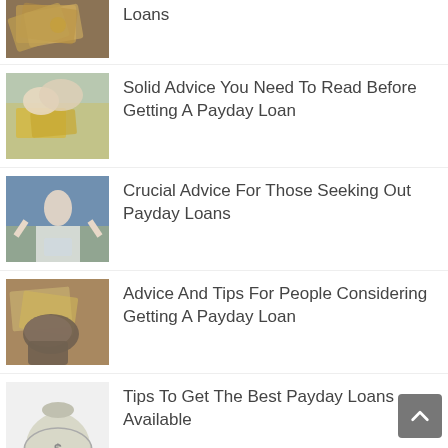Loans
Solid Advice You Need To Read Before Getting A Payday Loan
Crucial Advice For Those Seeking Out Payday Loans
Advice And Tips For People Considering Getting A Payday Loan
Tips To Get The Best Payday Loans Available